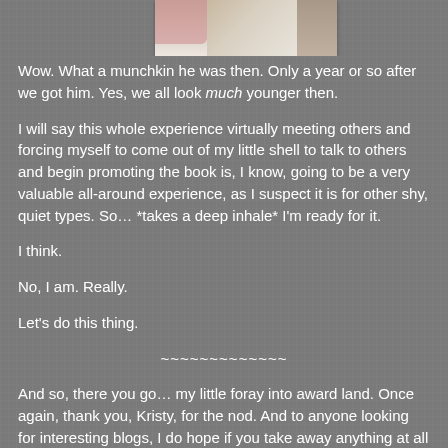[Figure (photo): Partial photo visible at top of page showing what appears to be a person with an animal, cropped to show just the bottom portion]
Wow. What a munchkin he was then. Only a year or so after we got him. Yes, we all look much younger then.
I will say this whole experience virtually meeting others and forcing myself to come out of my little shell to talk to others and begin promoting the book is, I know, going to be a very valuable all-around experience, as I suspect it is for other shy, quiet types. So… *takes a deep inhale* I'm ready for it.
I think.
No, I am. Really.
Let's do this thing.
~~~~~~~~~~~~~
And so, there you go… my little foray into award land. Once again, thank you, Kristy, for the nod. And to anyone looking for interesting blogs, I do hope if you take away anything at all from this bizarro blog entry that you check out some of these groovy sites I suggested. I'm confident you'll find them as interesting as I do.